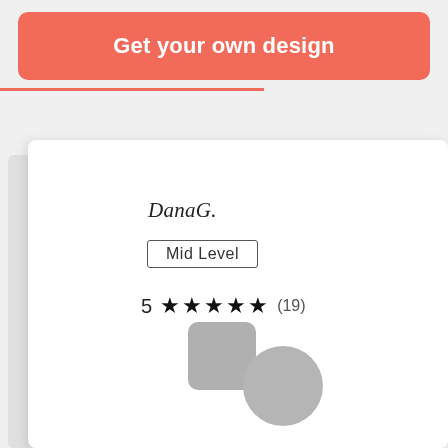Get your own design
DanaG.
Mid Level
5 ★★★★★ (19)
[Figure (illustration): Placeholder avatar with a grey square and grey circle at the bottom of the card]